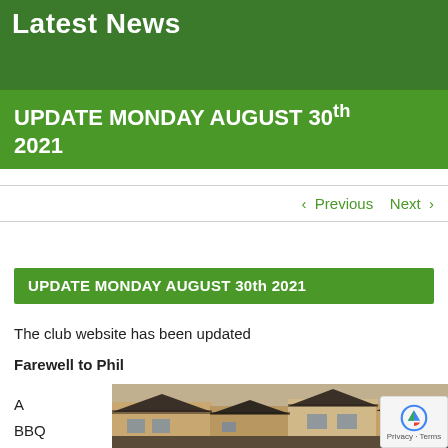Latest News
UPDATE MONDAY AUGUST 30th 2021
< Previous   Next >
UPDATE MONDAY AUGUST 30th 2021
The club website has been updated
Farewell to Phil
A
BBQ
[Figure (photo): Photo of a building exterior with a tiled roof and brick walls visible]